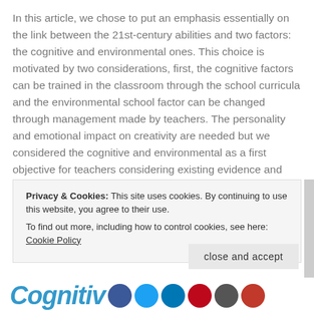In this article, we chose to put an emphasis essentially on the link between the 21st-century abilities and two factors: the cognitive and environmental ones. This choice is motivated by two considerations, first, the cognitive factors can be trained in the classroom through the school curricula and the environmental school factor can be changed through management made by teachers. The personality and emotional impact on creativity are needed but we considered the cognitive and environmental as a first objective for teachers considering existing evidence and techniques
Privacy & Cookies: This site uses cookies. By continuing to use this website, you agree to their use. To find out more, including how to control cookies, see here: Cookie Policy
close and accept
Cognitiv...